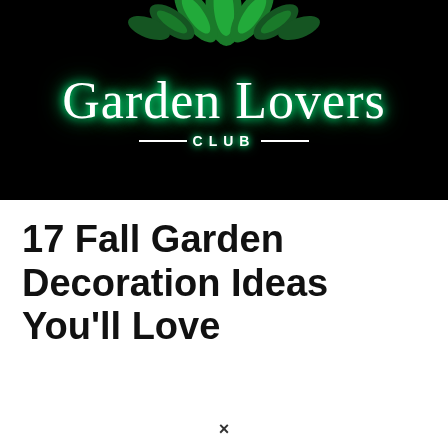[Figure (logo): Garden Lovers Club logo — white script text 'Garden Lovers' with green glowing effect, tropical leaf decorations at top, and '—CLUB—' in spaced capital letters below, all on a black background]
17 Fall Garden Decoration Ideas You'll Love